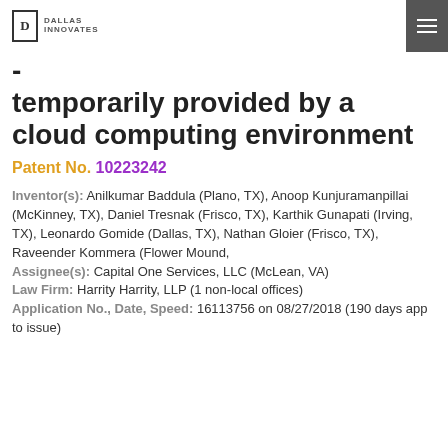Dallas Innovates
- temporarily provided by a cloud computing environment
Patent No. 10223242
Inventor(s): Anilkumar Baddula (Plano, TX), Anoop Kunjuramanpillai (McKinney, TX), Daniel Tresnak (Frisco, TX), Karthik Gunapati (Irving, TX), Leonardo Gomide (Dallas, TX), Nathan Gloier (Frisco, TX), Raveender Kommera (Flower Mound,
Assignee(s): Capital One Services, LLC (McLean, VA)
Law Firm: Harrity Harrity, LLP (1 non-local offices)
Application No., Date, Speed: 16113756 on 08/27/2018 (190 days app to issue)